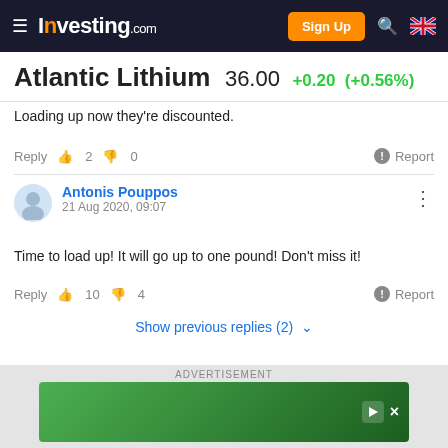Investing.com — Sign Up
Atlantic Lithium 36.00 +0.20 (+0.56%)
Loading up now they're discounted.
Reply  👍 2  👎 0  Report
Antonis Pouppos
21 Aug 2020, 09:07
Time to load up! It will go up to one pound! Don't miss it!
Reply  👍 10  👎 4  Report
Show previous replies (2)
John Wood
ADVERTISEMENT